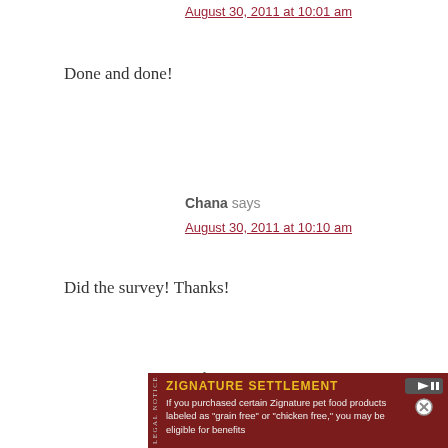August 30, 2011 at 10:01 am
Done and done!
Chana says
August 30, 2011 at 10:10 am
Did the survey! Thanks!
Aviva R says
August 30, 2011 at 10:24 am
Done!
[Figure (other): Advertisement banner for Zignature Settlement legal notice. Dark red background with gold bold title 'ZIGNATURE SETTLEMENT' and white body text: 'If you purchased certain Zignature pet food products labeled as "grain free" or "chicken free," you may be eligible for benefits']